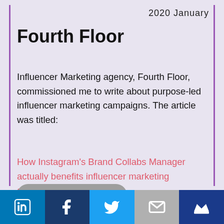2020 January
Fourth Floor
Influencer Marketing agency, Fourth Floor, commissioned me to write about purpose-led influencer marketing campaigns. The article was titled:
How Instagram's Brand Collabs Manager actually benefits influencer marketing agencies
Link to article
LinkedIn | Facebook | Twitter | Email | Crown